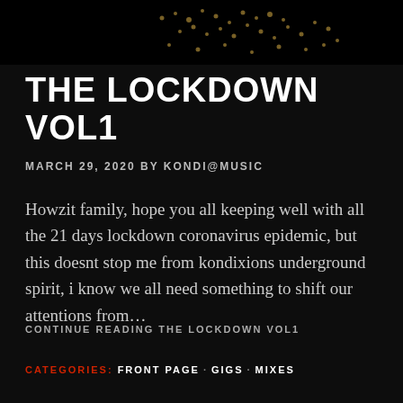[Figure (photo): Dark background image at the top with faint golden/amber dot pattern and silhouettes visible against black]
THE LOCKDOWN VOL1
MARCH 29, 2020 BY KONDI@MUSIC
Howzit family, hope you all keeping well with all the 21 days lockdown coronavirus epidemic, but this doesnt stop me from kondixions underground spirit, i know we all need something to shift our attentions from…
CONTINUE READING THE LOCKDOWN VOL1
CATEGORIES: FRONT PAGE · GIGS · MIXES